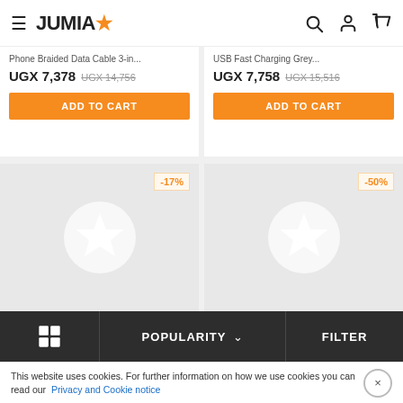JUMIA (logo with star)
Phone Braided Data Cable 3-in... | UGX 7,378 UGX 14,756
USB Fast Charging Grey... | UGX 7,758 UGX 15,516
[Figure (screenshot): Two product placeholder cards with -17% and -50% discount badges and JUMIA star placeholder images]
Grid view | POPULARITY (sort) | FILTER
This website uses cookies. For further information on how we use cookies you can read our Privacy and Cookie notice